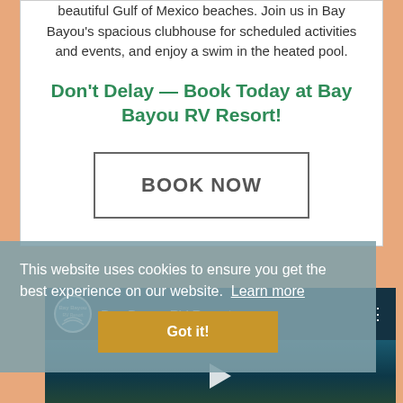beautiful Gulf of Mexico beaches. Join us in Bay Bayou's spacious clubhouse for scheduled activities and events, and enjoy a swim in the heated pool.
Don't Delay — Book Today at Bay Bayou RV Resort!
BOOK NOW
This website uses cookies to ensure you get the best experience on our website.  Learn more
Got it!
[Figure (screenshot): Bay Bayou RV Resort YouTube video thumbnail showing the resort with logo and play button]